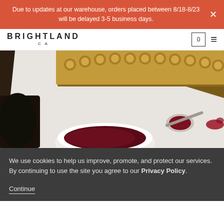Due to updates at our warehouse, orders placed between 8/18-8/23 will be delayed 3-5 business days.
[Figure (logo): BRIGHTLAND CA logo in bold spaced sans-serif letters]
[Figure (photo): Close-up photo of a white bowl of dark berry jam/compote with a spoon resting on a white surface, beside an ornate gold-framed mirror, dark moody background]
We use cookies to help us improve, promote, and protect our services. By continuing to use the site you agree to our Privacy Policy.
Continue